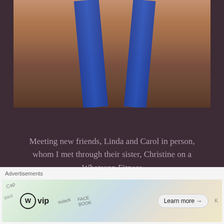[Figure (photo): Photo of people wearing blue sequined/patterned athletic wear straps, cropped to show torsos and faces]
Meeting new friends, Linda and Carol in person, whom I met through their sister, Christine on a Whatsapp Fitness
[Figure (photo): Partial photo visible at the bottom of the page, appears to show an outdoor or street scene]
Advertisements
[Figure (screenshot): WordPress VIP advertisement banner with WP logo, decorative background with Slack, Facebook card graphics, and a Learn more button]